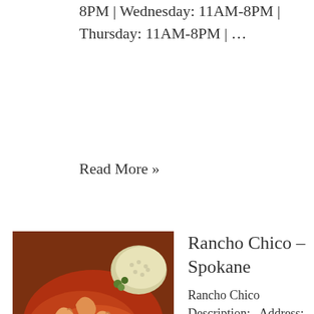8PM | Wednesday: 11AM-8PM | Thursday: 11AM-8PM | ...
Read More »
[Figure (photo): Photo of a Mexican food dish with shrimp in red sauce and rice]
Rancho Chico – Spokane
Rancho Chico Description: . Address: 9205 N Division St, Spokane, WA 99218, United States Phone Number: +1 509-467-0022 Website: http://www.mexicanrestaurant